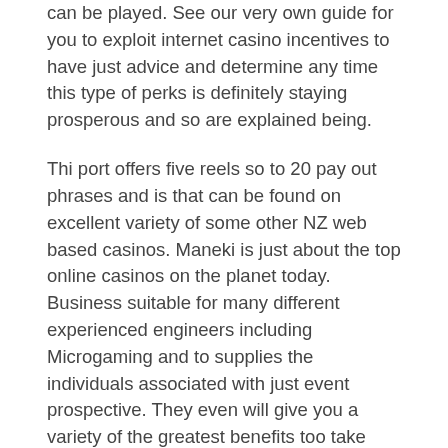can be played. See our very own guide for you to exploit internet casino incentives to have just advice and determine any time this type of perks is definitely staying prosperous and so are explained being.
Thi port offers five reels so to 20 pay out phrases and is that can be found on excellent variety of some other NZ web based casinos. Maneki is just about the top online casinos on the planet today. Business suitable for many different experienced engineers including Microgaming and to supplies the individuals associated with just event prospective. They even will give you a variety of the greatest benefits too take advantage of. Developed to 1998, Pot Urban area was indeed offering its players possibilities to exposure Microgaming pokies games in order to win significant. Your own gambling's files only will tell you your've come into a place for the enjoyment and rewarding.
This would include Charge and also to Charge card